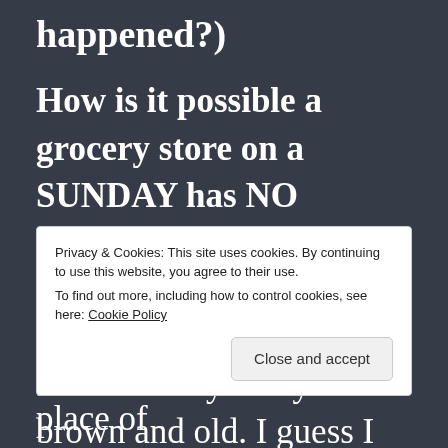happened?)
How is it possible a grocery store on a SUNDAY has NO MUSHROOMS?  The only plain white button mushrooms were the pre-sliced variety.  They were brown and old.  I guess I could have bought some of those fancy gourmet mushrooms for a gazillion dollars a pound.  Or I could have
Privacy & Cookies: This site uses cookies. By continuing to use this website, you agree to their use.
To find out more, including how to control cookies, see here: Cookie Policy
too Oriental for me.  In the place of